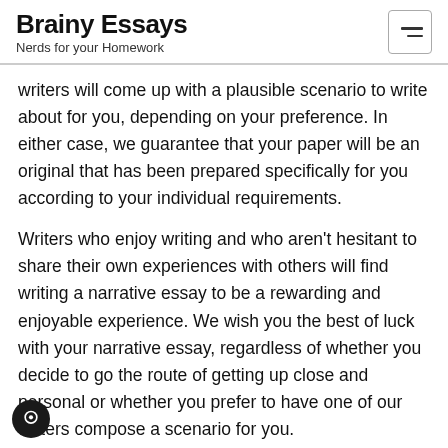Brainy Essays
Nerds for your Homework
writers will come up with a plausible scenario to write about for you, depending on your preference. In either case, we guarantee that your paper will be an original that has been prepared specifically for you according to your individual requirements.
Writers who enjoy writing and who aren't hesitant to share their own experiences with others will find writing a narrative essay to be a rewarding and enjoyable experience. We wish you the best of luck with your narrative essay, regardless of whether you decide to go the route of getting up close and personal or whether you prefer to have one of our writers compose a scenario for you.